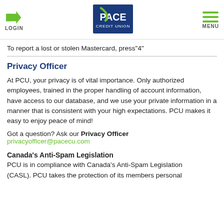[Figure (logo): PACE Credit Union logo with green swoosh on blue background]
To report a lost or stolen Mastercard, press"4"
Privacy Officer
At PCU, your privacy is of vital importance. Only authorized employees, trained in the proper handling of account information, have access to our database, and we use your private information in a manner that is consistent with your high expectations. PCU makes it easy to enjoy peace of mind!
Got a question? Ask our Privacy Officer
privacyofficer@pacecu.com
Canada's Anti-Spam Legislation
PCU is in compliance with Canada's Anti-Spam Legislation (CASL). PCU takes the protection of its members personal